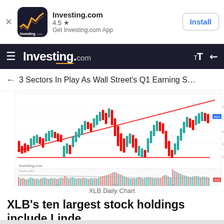[Figure (screenshot): Investing.com app install banner with logo, 4.5 star rating, and Install button]
Investing.com
3 Sectors In Play As Wall Street's Q1 Earning S…
[Figure (continuous-plot): XLB daily candlestick stock chart with red ascending triangle trendlines and volume bars at bottom, watermarked with Investing.com logo]
XLB Daily Chart
XLB's ten largest stock holdings include Linde